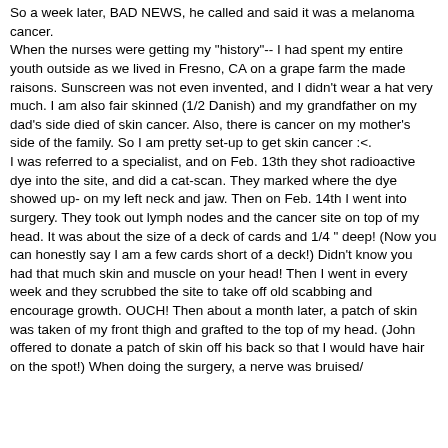So a week later, BAD NEWS, he called and said it was a melanoma cancer. When the nurses were getting my "history"-- I had spent my entire youth outside as we lived in Fresno, CA on a grape farm the made raisons. Sunscreen was not even invented, and I didn't wear a hat very much. I am also fair skinned (1/2 Danish) and my grandfather on my dad's side died of skin cancer. Also, there is cancer on my mother's side of the family. So I am pretty set-up to get skin cancer :<. I was referred to a specialist, and on Feb. 13th they shot radioactive dye into the site, and did a cat-scan. They marked where the dye showed up- on my left neck and jaw. Then on Feb. 14th I went into surgery. They took out lymph nodes and the cancer site on top of my head. It was about the size of a deck of cards and 1/4 " deep! (Now you can honestly say I am a few cards short of a deck!) Didn't know you had that much skin and muscle on your head! Then I went in every week and they scrubbed the site to take off old scabbing and encourage growth. OUCH! Then about a month later, a patch of skin was taken of my front thigh and grafted to the top of my head. (John offered to donate a patch of skin off his back so that I would have hair on the spot!) When doing the surgery, a nerve was bruised/